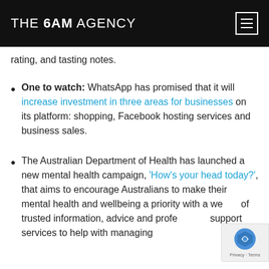THE 6AM AGENCY
rating, and tasting notes.
One to watch: WhatsApp has promised that it will increase investment in three areas for businesses on its platform: shopping, Facebook hosting services and business sales.
The Australian Department of Health has launched a new mental health campaign, ‘How’s your head today?’, that aims to encourage Australians to make their mental health and wellbeing a priority with a wealth of trusted information, advice and professional support services to help with managing